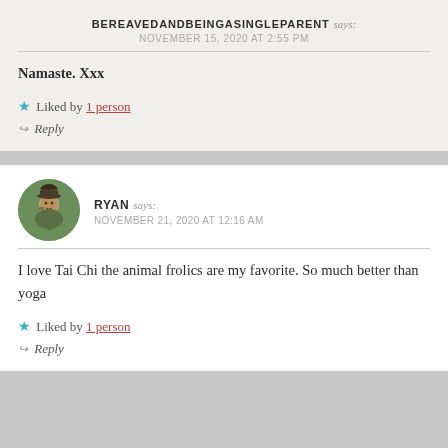BEREAVEDANDBEINGASINGLEPARENT says:
NOVEMBER 15, 2020 AT 2:55 PM
Namaste. Xxx
★ Liked by 1 person
↪ Reply
[Figure (photo): Circular avatar photo of Ryan, a person outdoors]
RYAN says:
NOVEMBER 21, 2020 AT 12:16 AM
I love Tai Chi the animal frolics are my favorite. So much better than yoga
★ Liked by 1 person
↪ Reply